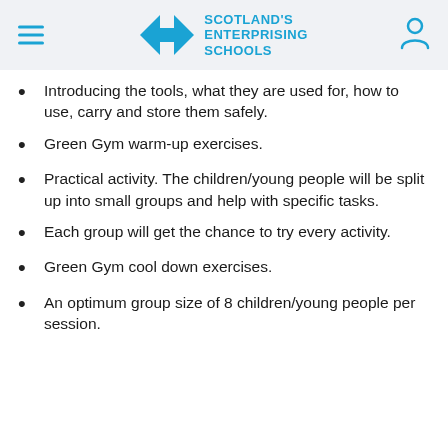Scotland's Enterprising Schools
Introducing the tools, what they are used for, how to use, carry and store them safely.
Green Gym warm-up exercises.
Practical activity. The children/young people will be split up into small groups and help with specific tasks.
Each group will get the chance to try every activity.
Green Gym cool down exercises.
An optimum group size of 8 children/young people per session.